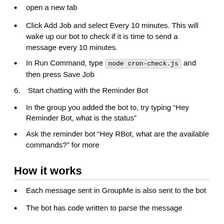open a new tab
Click Add Job and select Every 10 minutes. This will wake up our bot to check if it is time to send a message every 10 minutes.
In Run Command, type node cron-check.js and then press Save Job
6. Start chatting with the Reminder Bot
In the group you added the bot to, try typing “Hey Reminder Bot, what is the status”
Ask the reminder bot “Hey RBot, what are the available commands?” for more
How it works
Each message sent in GroupMe is also sent to the bot
The bot has code written to parse the message